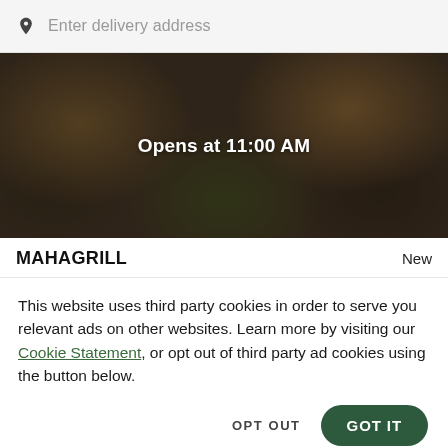Enter delivery address
[Figure (photo): Dark food photo showing bowls with grilled/roasted food items including what appears to be salad greens and glazed dishes, overlaid with text 'Opens at 11:00 AM']
MAHAGRILL
New
This website uses third party cookies in order to serve you relevant ads on other websites. Learn more by visiting our Cookie Statement, or opt out of third party ad cookies using the button below.
OPT OUT
GOT IT